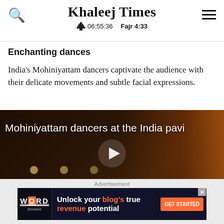Khaleej Times — 06:55:36  Fajr 4:33
Enchanting dances
India's Mohiniyattam dancers captivate the audience with their delicate movements and subtle facial expressions.
[Figure (screenshot): Video thumbnail showing Mohiniyattam dancers at the India pavilion with a play button overlay. Text overlay reads: Mohiniyattam dancers at the India pavi]
Advertisement — Unlock your blog's true revenue potential — GET STARTED (Word Monetize)